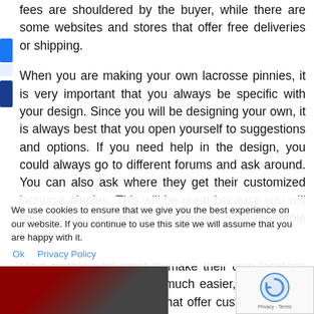fees are shouldered by the buyer, while there are some websites and stores that offer free deliveries or shipping.
When you are making your own lacrosse pinnies, it is very important that you always be specific with your design. Since you will be designing your own, it is always best that you open yourself to suggestions and options. If you need help in the design, you could always go to different forums and ask around. You can also ask where they get their customized lacrosse pinnies. This will be great because you will be assured that you will get pinnies from reputable vendors.
Most people who want to make their own lacrosse pinnies go online. This is much easier, especially if there are only few stores that offer customization of lacrosse pinnies. You will find that there are numerous reputable websites that will allow you to make your own.
We use cookies to ensure that we give you the best experience on our website. If you continue to use this site we will assume that you are happy with it.